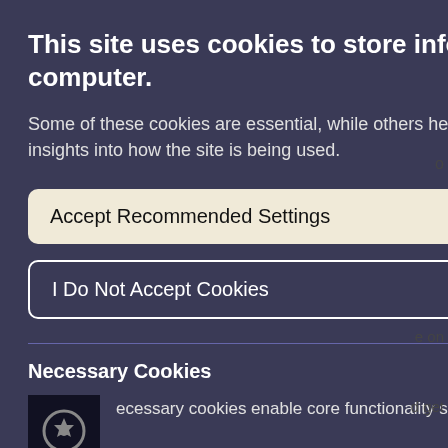This site uses cookies to store information on your computer.
Some of these cookies are essential, while others help us to improve your experience by providing insights into how the site is being used.
Accept Recommended Settings
I Do Not Accept Cookies
Necessary Cookies
ecessary cookies enable core functionality such e navigation and access to secure areas.